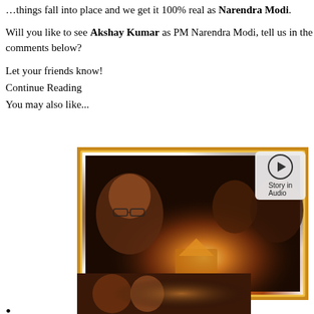things fall into place and we get it 100% real as Narendra Modi.
Will you like to see Akshay Kumar as PM Narendra Modi, tell us in the comments below?
Let your friends know!
Continue Reading
You may also like...
[Figure (photo): Movie promotional image showing four actors — a man with glasses in the foreground, a woman with a bindi, another young man, and another woman — framed within an ornate golden picture frame with dramatic fiery light bursting from the center.]
[Figure (photo): Smaller thumbnail image showing two people, partially visible, with warm amber tones.]